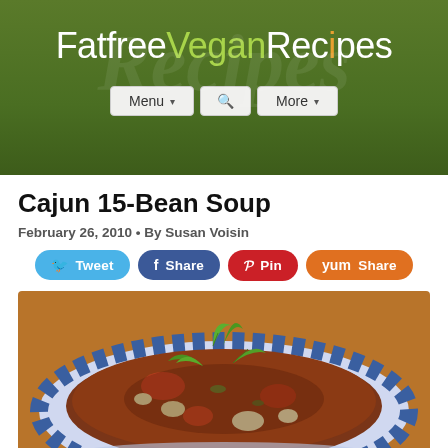FatfreeVeganRecipes
Menu ▾   🔍   More ▾
Cajun 15-Bean Soup
February 26, 2010 • By Susan Voisin
Tweet   Share   Pin   Share
[Figure (photo): A bowl of Cajun 15-Bean Soup garnished with fresh basil leaves, served in a blue and white patterned ceramic bowl.]